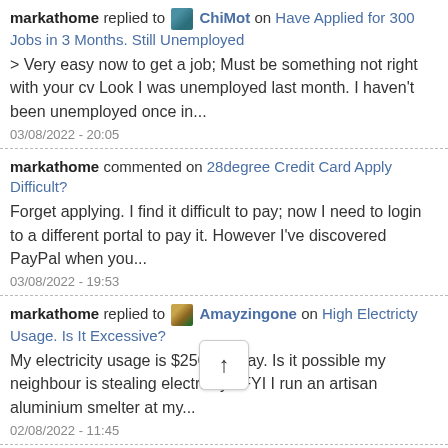markathome replied to ChiMot on Have Applied for 300 Jobs in 3 Months. Still Unemployed
> Very easy now to get a job; Must be something not right with your cv Look I was unemployed last month. I haven't been unemployed once in...
03/08/2022 - 20:05
markathome commented on 28degree Credit Card Apply Difficult?
Forget applying. I find it difficult to pay; now I need to login to a different portal to pay it. However I've discovered PayPal when you...
03/08/2022 - 19:53
markathome replied to Amayzingone on High Electricty Usage. Is It Excessive?
My electricity usage is $250 per day. Is it possible my neighbour is stealing electricity? FYI I run an artisan aluminium smelter at my...
02/08/2022 - 11:45
markathome replied to 20... Receive a Free Cheese